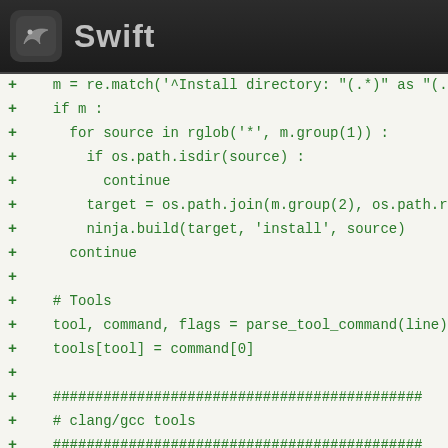Swift
[Figure (screenshot): Code diff view showing Python source code with green addition lines (+ prefix). Lines show Python code for install directory matching, file globbing, path joining, ninja build calls, and tool/command parsing for clang/gcc tools.]